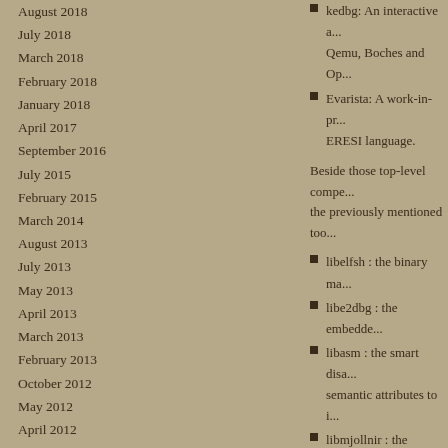August 2018
July 2018
March 2018
February 2018
January 2018
April 2017
September 2016
July 2015
February 2015
March 2014
August 2013
July 2013
May 2013
April 2013
March 2013
February 2013
October 2012
May 2012
April 2012
December 2011
September 2011
kedbg: An interactive a... Qemu, Boches and Op...
Evarista: A work-in-pr... ERESI language.
Beside those top-level compe... the previously mentioned too...
libelfsh : the binary ma...
libe2dbg : the embedde...
libasm : the smart disa... semantic attributes to i...
libmjollnir : the contro...
librevm : the Runtime... implementation of the...
libstderesi : the standar...
libaspect : the aspect li... language.
libedfmt : the ERESI d... ERESI debug format.
libetrace : the ERESI tr...
libkernsh : the Kernel s...